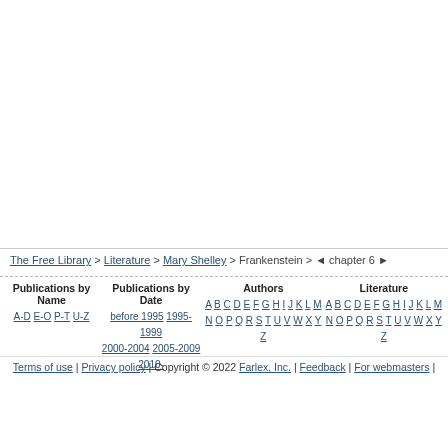The Free Library > Literature > Mary Shelley > Frankenstein > ◄ chapter 6 ►
Publications by Name | A-D E-O P-T U-Z
Publications by Date | before 1995 1995-1999 2000-2004 2005-2009 2010-
Authors | A B C D E F G H I J K L M N O P Q R S T U V W X Y Z
Literature | A B C D E F G H I J K L M N O P Q R S T U V W X Y Z
Terms of use | Privacy policy | Copyright © 2022 Farlex, Inc. | Feedback | For webmasters |